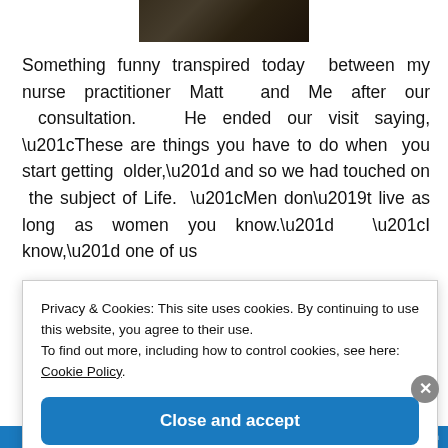[Figure (photo): Dark vintage photograph at top center of page]
Something funny transpired today  between my nurse practitioner Matt  and Me after our  consultation.   He ended our visit saying, “These are things you have to do when  you start getting  older,” and so we had touched on  the subject of Life.  “Men don’t live as long as women you know.”  “I know,” one of us
Privacy & Cookies: This site uses cookies. By continuing to use this website, you agree to their use.
To find out more, including how to control cookies, see here: Cookie Policy
Close and accept